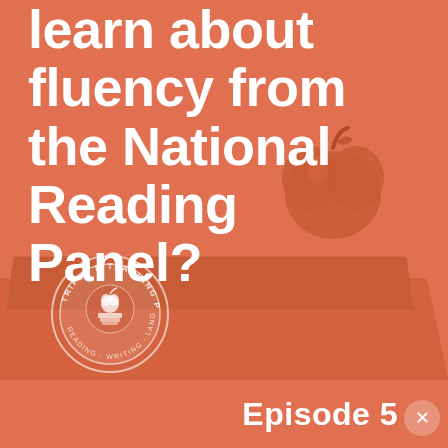[Figure (illustration): Podcast episode cover image with orange/terracotta background. Shows stacked books and an apple illustration. Triple R Teaching Podcast circular logo badge in bottom left. Large white bold text reads 'learn about fluency from the National Reading Panel?' with Episode 5 label at the bottom.]
learn about fluency from the National Reading Panel?
Episode 5